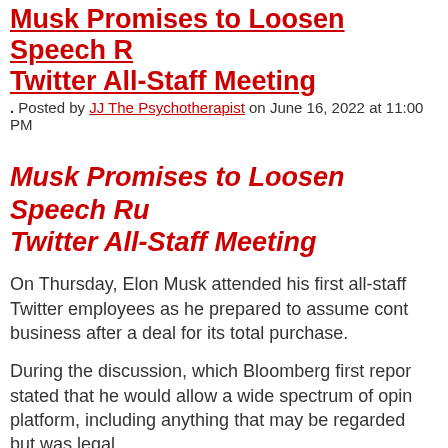Musk Promises to Loosen Speech Rules at Twitter All-Staff Meeting
Posted by JJ The Psychotherapist on June 16, 2022 at 11:00 PM
Musk Promises to Loosen Speech Rules at Twitter All-Staff Meeting
On Thursday, Elon Musk attended his first all-staff meeting with Twitter employees as he prepared to assume control of the business after a deal for its total purchase.
During the discussion, which Bloomberg first reported, Musk stated that he would allow a wide spectrum of opinions on the platform, including anything that may be regarded as hateful but was legal.
Musk's claimed purpose for acquiring the firm was Twitter, which he had previously attacked for apparent censorship, imposing content warnings and banning controversial figures such as former President Donald Trump, the Babylon Bee, and New York Post. "I think it's essential to have free...